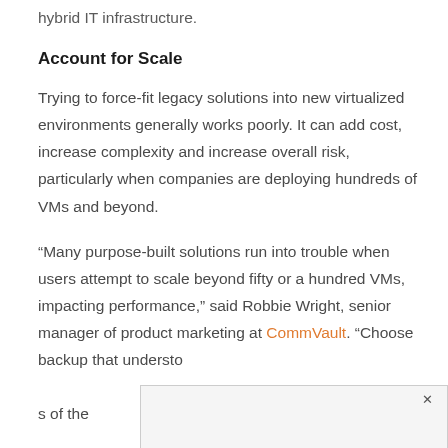hybrid IT infrastructure.
Account for Scale
Trying to force-fit legacy solutions into new virtualized environments generally works poorly. It can add cost, increase complexity and increase overall risk, particularly when companies are deploying hundreds of VMs and beyond.
“Many purpose-built solutions run into trouble when users attempt to scale beyond fifty or a hundred VMs, impacting performance,” said Robbie Wright, senior manager of product marketing at CommVault. “Choose backup that understo… s of the